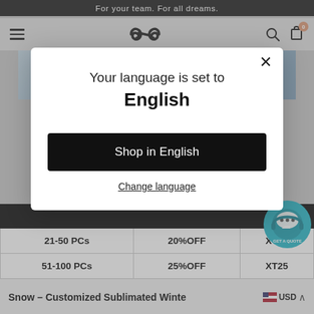For your team. For all dreams.
[Figure (screenshot): Website navigation bar with hamburger menu, infinity-loop logo, search icon, and cart icon with badge showing 0]
[Figure (screenshot): Product image strip showing partial view of winter jacket]
Your language is set to English
Shop in English
Change language
|  |  |  |
| --- | --- | --- |
| 21-50 PCs | 20%OFF | XT20 |
| 51-100 PCs | 25%OFF | XT25 |
Snow – Customized Sublimated Winte  USD